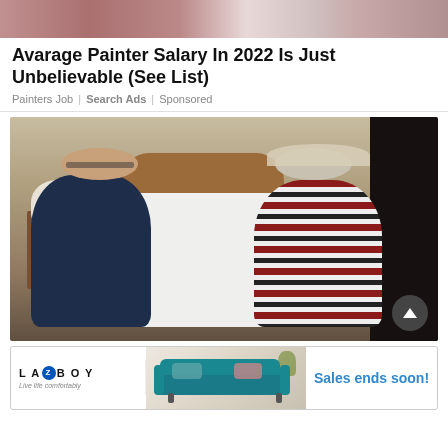[Figure (photo): Top partial photo showing people, cropped at top of page]
Avarage Painter Salary In 2022 Is Just Unbelievable (See List)
Painters Job | Search Ads | Sponsored
[Figure (photo): Older couple sitting on either side of a white bed in a bedroom. Man on left wearing dark blue striped polo shirt, woman on right wearing red/white/black striped top. Pine wood headboard visible. Bedside table with lamp on left.]
[Figure (photo): LA-Z-BOY advertisement banner showing a teal blue sofa with text 'Sales ends soon!']